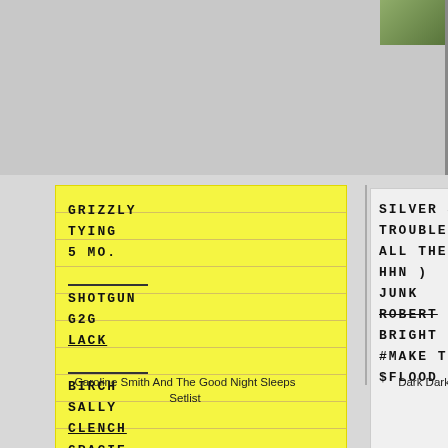[Figure (photo): Two handwritten setlists side by side. Left: yellow lined sticky note with Caroline Smith And The Good Night Sleeps setlist (GRIZZLY, TYING, 5 MO., SHOTGUN, G2G, LACK, BIRCH, SALLY, CLENCH, GRACIE, CLOSING). Right: white paper with Dark Dark Dark setlist (SILVER SP, TROUBLE, ALL THE TH, HHN), JUNK, ROBERT (struck through), BRIGHT, #MAKE TIM(E), $FLOOD).]
Caroline Smith And The Good Night Sleeps Setlist
Dark Dark Dark Setlist